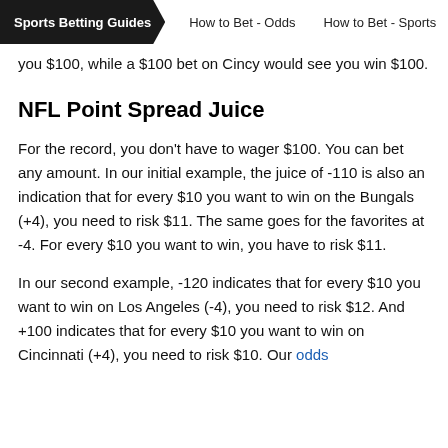Sports Betting Guides | How to Bet - Odds | How to Bet - Sports
you $100, while a $100 bet on Cincy would see you win $100.
NFL Point Spread Juice
For the record, you don't have to wager $100. You can bet any amount. In our initial example, the juice of -110 is also an indication that for every $10 you want to win on the Bungals (+4), you need to risk $11. The same goes for the favorites at -4. For every $10 you want to win, you have to risk $11.
In our second example, -120 indicates that for every $10 you want to win on Los Angeles (-4), you need to risk $12. And +100 indicates that for every $10 you want to win on Cincinnati (+4), you need to risk $10. Our odds